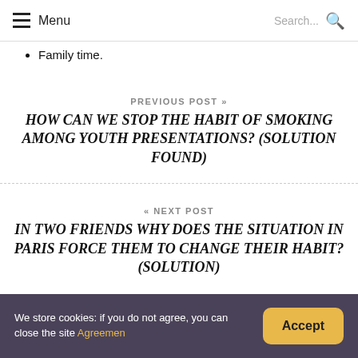Menu | Search...
Family time.
PREVIOUS POST »
HOW CAN WE STOP THE HABIT OF SMOKING AMONG YOUTH PRESENTATIONS? (SOLUTION FOUND)
« NEXT POST
IN TWO FRIENDS WHY DOES THE SITUATION IN PARIS FORCE THEM TO CHANGE THEIR HABIT? (SOLUTION)
We store cookies: if you do not agree, you can close the site Agreemen